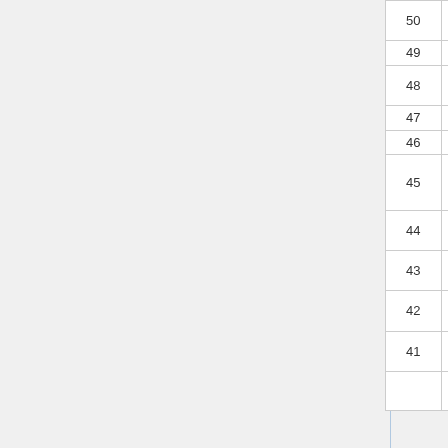| Rank | Title | * | Num1 | Num2 | * | Sales |
| --- | --- | --- | --- | --- | --- | --- |
| 50 | Igatsu no Anklet | * | 26 | 1 | * | 1,048 |
| 49 | ♡SukiNanda | * | 25 | 1 | * | 1,036 |
| 48 | Negaigoto no Mochigusare | * | 18 | 1 | * | 1,217 |
| 47 | Shoot Sign | * | 23 | 1 | * | 933, |
| 46 | High Tension | * | 35 | 1 | * | 1,120 |
| 45 | LOVE TRIP / Shiawase wo Wakenasai | * | 26 | 1 | * | 1,100 |
| 44 | Tsubasa wa Iranai | * | 14 | 1 | * | 1,331 |
| 43 | Kimi wa Melody | * | 35 | 1 | * | 1,133 |
| 42 | Kuchibiru ni Be My Baby | * | 72 | 1 | * | 813, |
| 41 | Halloween Night | * | 24 | 1 | * | 1,187 |